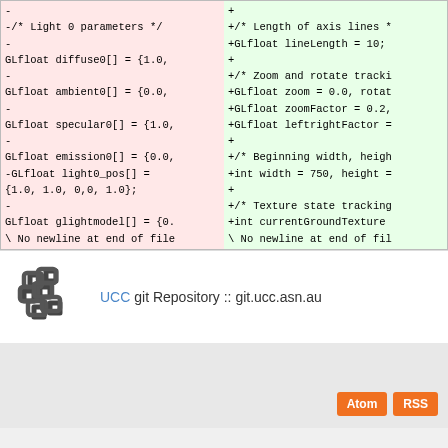[Figure (screenshot): Diff view showing removed lines (red background, left column) and added lines (green background, right column) of C/OpenGL source code]
UCC git Repository :: git.ucc.asn.au
[Figure (logo): UCC logo - interlocking chain-like symbol]
Atom  RSS